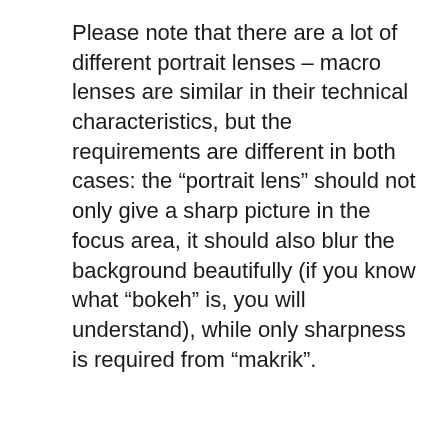Please note that there are a lot of different portrait lenses – macro lenses are similar in their technical characteristics, but the requirements are different in both cases: the “portrait lens” should not only give a sharp picture in the focus area, it should also blur the background beautifully (if you know what “bokeh” is, you will understand), while only sharpness is required from “makrik”.